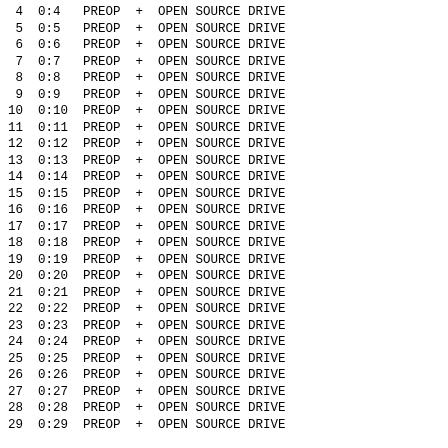4  0:4   PREOP  +  OPEN SOURCE DRIVE
 5  0:5   PREOP  +  OPEN SOURCE DRIVE
 6  0:6   PREOP  +  OPEN SOURCE DRIVE
 7  0:7   PREOP  +  OPEN SOURCE DRIVE
 8  0:8   PREOP  +  OPEN SOURCE DRIVE
 9  0:9   PREOP  +  OPEN SOURCE DRIVE
10  0:10  PREOP  +  OPEN SOURCE DRIVE
11  0:11  PREOP  +  OPEN SOURCE DRIVE
12  0:12  PREOP  +  OPEN SOURCE DRIVE
13  0:13  PREOP  +  OPEN SOURCE DRIVE
14  0:14  PREOP  +  OPEN SOURCE DRIVE
15  0:15  PREOP  +  OPEN SOURCE DRIVE
16  0:16  PREOP  +  OPEN SOURCE DRIVE
17  0:17  PREOP  +  OPEN SOURCE DRIVE
18  0:18  PREOP  +  OPEN SOURCE DRIVE
19  0:19  PREOP  +  OPEN SOURCE DRIVE
20  0:20  PREOP  +  OPEN SOURCE DRIVE
21  0:21  PREOP  +  OPEN SOURCE DRIVE
22  0:22  PREOP  +  OPEN SOURCE DRIVE
23  0:23  PREOP  +  OPEN SOURCE DRIVE
24  0:24  PREOP  +  OPEN SOURCE DRIVE
25  0:25  PREOP  +  OPEN SOURCE DRIVE
26  0:26  PREOP  +  OPEN SOURCE DRIVE
27  0:27  PREOP  +  OPEN SOURCE DRIVE
28  0:28  PREOP  +  OPEN SOURCE DRIVE
29  0:29  PREOP  +  OPEN SOURCE DRIVE
--
https://sites.google.com/site/ironspeedlinux/